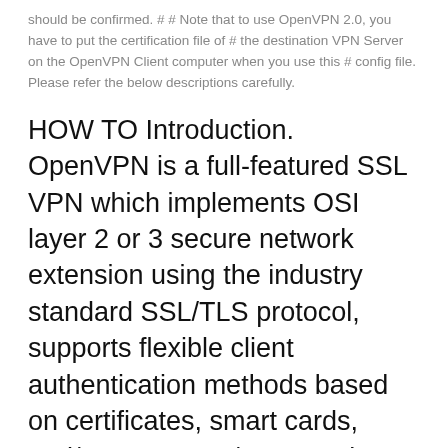should be confirmed. # # Note that to use OpenVPN 2.0, you have to put the certification file of # the destination VPN Server on the OpenVPN Client computer when you use this # config file. Please refer the below descriptions carefully.
HOW TO Introduction. OpenVPN is a full-featured SSL VPN which implements OSI layer 2 or 3 secure network extension using the industry standard SSL/TLS protocol, supports flexible client authentication methods based on certificates, smart cards, and/or username/password credentials, and allows user or group-specific access control policies using firewall rules applied to the VPN virtual interface.
How to FIX: "Error 5: no hostname exists for this, Jan 20, 2013...